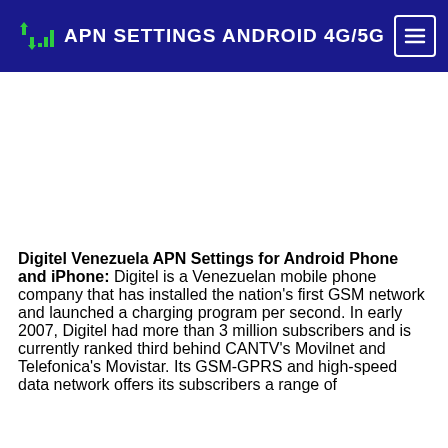APN SETTINGS ANDROID 4G/5G
[Figure (other): Advertisement / ad space placeholder (blank white area)]
Digitel Venezuela APN Settings for Android Phone and iPhone: Digitel is a Venezuelan mobile phone company that has installed the nation's first GSM network and launched a charging program per second. In early 2007, Digitel had more than 3 million subscribers and is currently ranked third behind CANTV's Movilnet and Telefonica's Movistar. Its GSM-GPRS and high-speed data network offers its subscribers a range of